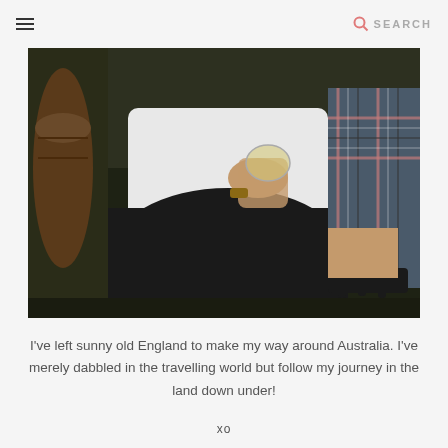≡  SEARCH
[Figure (photo): A person sitting on grass holding a wine glass, wearing a white top and black pants. Another person in a plaid shirt is visible on the right. Wine barrels visible in the background.]
I've left sunny old England to make my way around Australia. I've merely dabbled in the travelling world but follow my journey in the land down under!
xo